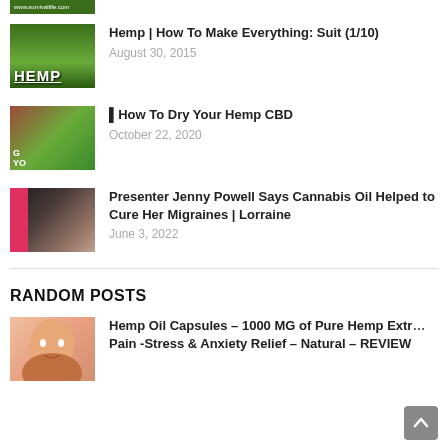[Figure (screenshot): Partial thumbnail of a video at top of page]
Hemp | How To Make Everything: Suit (1/10)
August 30, 2015
▌How To Dry Your Hemp CBD
October 22, 2020
Presenter Jenny Powell Says Cannabis Oil Helped to Cure Her Migraines | Lorraine
June 3, 2022
RANDOM POSTS
Hemp Oil Capsules – 1000 MG of Pure Hemp Extr… Pain -Stress & Anxiety Relief – Natural – REVIEW